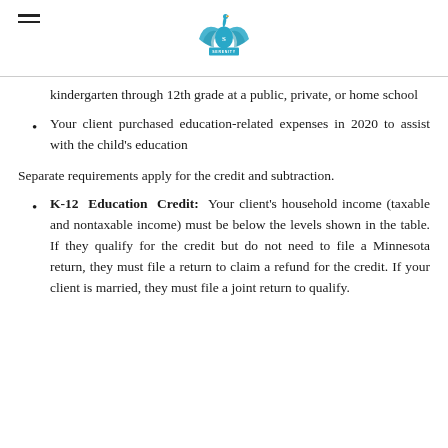Serenity logo and hamburger menu
kindergarten through 12th grade at a public, private, or home school
Your client purchased education-related expenses in 2020 to assist with the child's education
Separate requirements apply for the credit and subtraction.
K-12 Education Credit: Your client's household income (taxable and nontaxable income) must be below the levels shown in the table. If they qualify for the credit but do not need to file a Minnesota return, they must file a return to claim a refund for the credit. If your client is married, they must file a joint return to qualify.